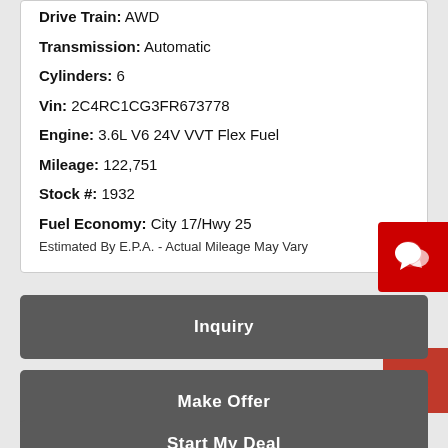Drive Train: AWD
Transmission: Automatic
Cylinders: 6
Vin: 2C4RC1CG3FR673778
Engine: 3.6L V6 24V VVT Flex Fuel
Mileage: 122,751
Stock #: 1932
Fuel Economy: City 17/Hwy 25
Estimated By E.P.A. - Actual Mileage May Vary
Inquiry
Make Offer
Start My Deal